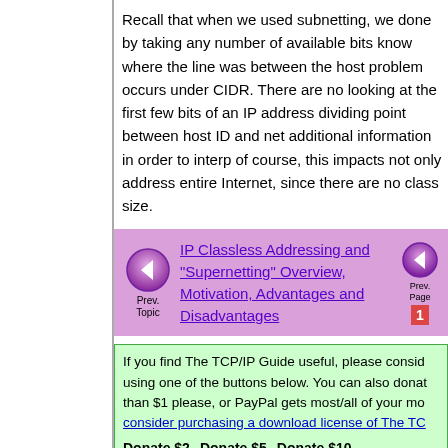Recall that when we used subnetting, done by taking any number of available know where the line was between the problem occurs under CIDR. There are looking at the first few bits of an IP address dividing point between host ID and network additional information in order to interpret of course, this impacts not only addresses entire Internet, since there are no class size.
[Figure (other): Navigation box with purple background showing 'Prev. Topic' button and link to 'IP Classless Addressing and "Supernetting" Overview, Motivation, Advantages and Disadvantages', plus a 'Prev. Page' button with page number 1]
If you find The TCP/IP Guide useful, please consider using one of the buttons below. You can also donate than $1 please, or PayPal gets most/all of your money. consider purchasing a download license of The TCP/IP Guide.
Donate $2    Donate $5    Donate $10